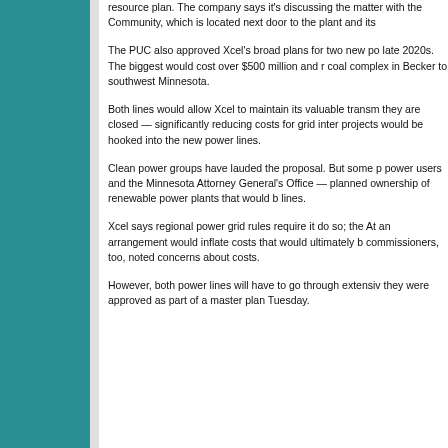resource plan. The company says it's discussing the matter with the Community, which is located next door to the plant and its
The PUC also approved Xcel's broad plans for two new power lines in the late 2020s. The biggest would cost over $500 million and run from the coal complex in Becker to southwest Minnesota.
Both lines would allow Xcel to maintain its valuable transmission lines as they are closed — significantly reducing costs for grid interconnection projects would be hooked into the new power lines.
Clean power groups have lauded the proposal. But some large industrial power users and the Minnesota Attorney General's Office — challenged planned ownership of renewable power plants that would be tied to the lines.
Xcel says regional power grid rules require it do so; the Attorney General an arrangement would inflate costs that would ultimately be paid by commissioners, too, noted concerns about costs.
However, both power lines will have to go through extensive review before they were approved as part of a master plan Tuesday.